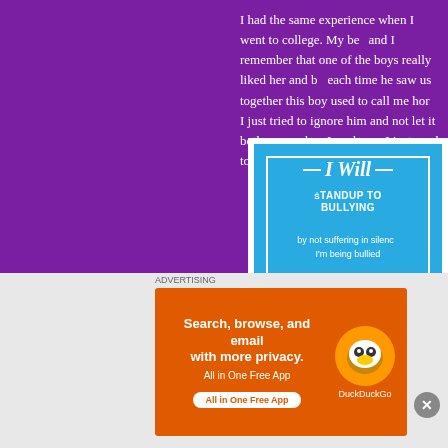I had the same experience when I went to college. My be... and I remember that one of the boys really liked her and b... each time he saw us together this boy used to call me hor... I just tried to ignore him and not let it bother me when I w... home I just used to sit in my roon and cry!
[Figure (infographic): Blue 'I Will Stand Up To Bullying' pledge card with white border and hashtag #StandUpToBullying]
Bullied at work
When I went to work, one of my managers was just m...
[Figure (infographic): DuckDuckGo advertisement: Search, browse, and email with more privacy. All in One Free App.]